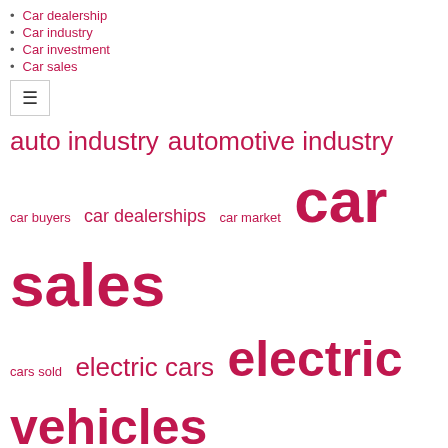Car dealership
Car industry
Car investment
Car sales
[Figure (infographic): Tag/word cloud with automotive-related terms in varying font sizes, all in crimson/pink color. Terms include: auto industry, automotive industry, car buyers, car dealerships, car market, car sales (largest), cars sold, electric cars, electric vehicles (very large), managing director, market share, mercedes benz, supply chain (large), united states (large), vehicle sales.]
RECENT POSTS
Car loans in the United States have been stopped for riskier borrowers who are under inflationary pressures